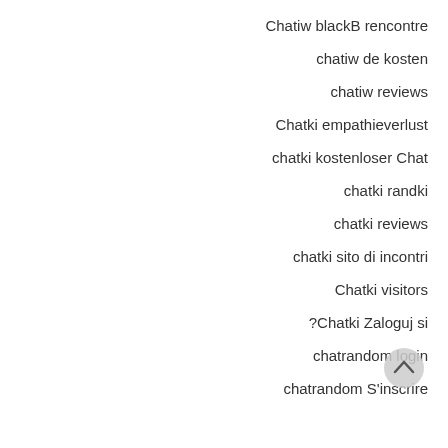Chatiw blackB rencontre
chatiw de kosten
chatiw reviews
Chatki empathieverlust
chatki kostenloser Chat
chatki randki
chatki reviews
chatki sito di incontri
Chatki visitors
?Chatki Zaloguj si
chatrandom login
chatrandom S'inscrire